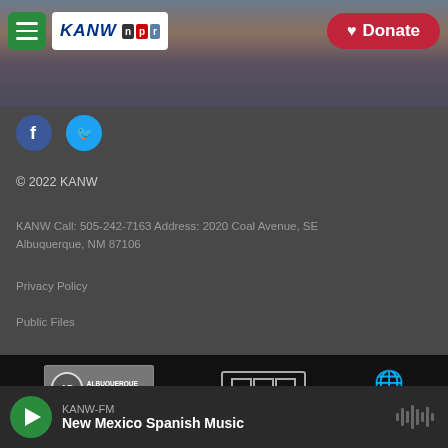[Figure (screenshot): KANW NPR website header with hamburger menu (green), KANW NPR logo, and red Donate button with heart icon over a mountain landscape background]
© 2022 KANW
KANW Call: 505-242-7163 Address: 2020 Coal Avenue, SE Albuquerque, NM 87106
Privacy Policy
Public Files
[Figure (logo): Albuquerque Public Schools logo]
[Figure (logo): NPR logo in bordered squares]
[Figure (logo): PRI globe logo]
[Figure (logo): American Public Media logo]
[Figure (logo): BBC logo]
KANW-FM
New Mexico Spanish Music